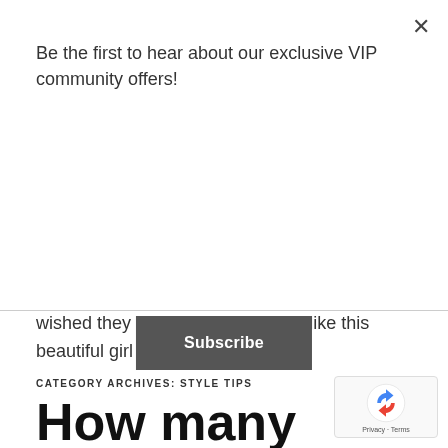Be the first to hear about our exclusive VIP community offers!
Subscribe
wished they could have hair more like this beautiful girl eating a flower.
CATEGORY ARCHIVES: STYLE TIPS
How many different products or gimmicks have you tried to see if you can change the hair you were born